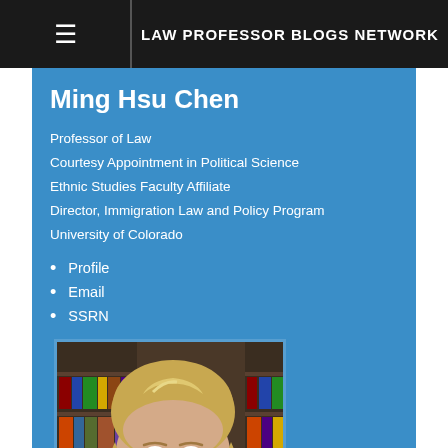LAW PROFESSOR BLOGS NETWORK
Ming Hsu Chen
Professor of Law
Courtesy Appointment in Political Science
Ethnic Studies Faculty Affiliate
Director, Immigration Law and Policy Program
University of Colorado
Profile
Email
SSRN
[Figure (photo): Headshot of Ming Hsu Chen, a woman with blonde hair, smiling, with bookshelves in the background]